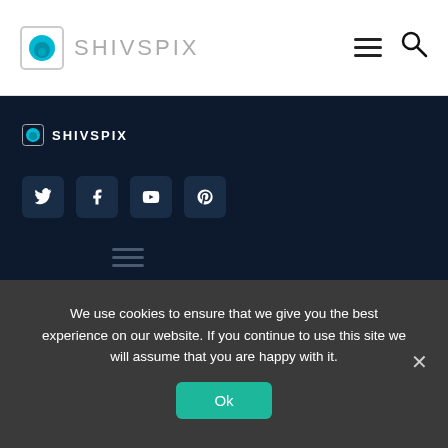SHIVSPIX - header with logo, hamburger menu, and search icon
[Figure (logo): Shivspix logo with teal camera icon and gray text SHIVSPIX in dark section]
[Figure (infographic): Social media icon buttons: Twitter, Facebook, YouTube, Pinterest on dark background]
[Figure (infographic): Hamburger menu icon on dark background]
We use cookies to ensure that we give you the best experience on our website. If you continue to use this site we will assume that you are happy with it.